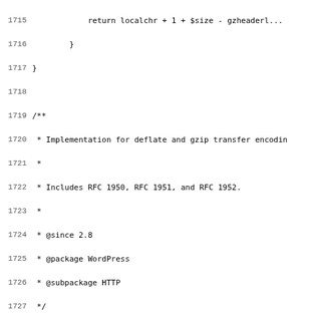Source code listing lines 1715-1747, showing PHP class WP_Http_Encoding with comments and methods for deflate/gzip encoding.